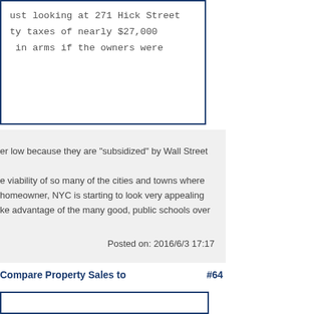ust looking at 271 Hick Street
ty taxes of nearly $27,000
 in arms if the owners were
er low because they are "subsidized" by Wall Street
e viability of so many of the cities and towns where
homeowner, NYC is starting to look very appealing
ke advantage of the many good, public schools over
Posted on: 2016/6/3 17:17
Compare Property Sales to  #64
[Figure (screenshot): Partial screenshot of a comment box at bottom of page, showing blue border outline]